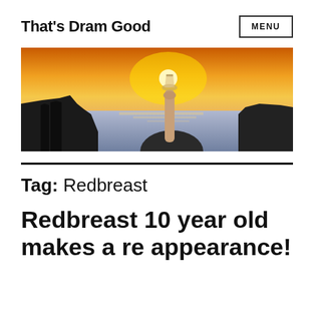That's Dram Good
[Figure (photo): A hand holding a whisky glass raised against a dramatic sunset over the ocean with cliffs in the background]
Tag: Redbreast
Redbreast 10 year old makes a re appearance!